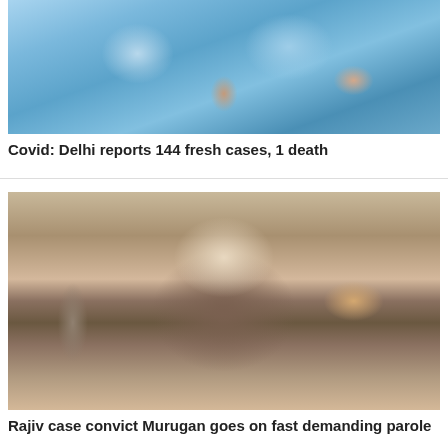[Figure (photo): Healthcare workers in blue PPE suits conducting COVID testing or medical procedure]
Covid: Delhi reports 144 fresh cases, 1 death
[Figure (photo): Portrait of Murugan, a man with long dark beard and hair]
Rajiv case convict Murugan goes on fast demanding parole